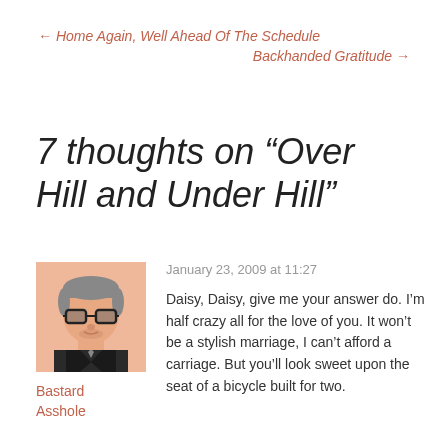← Home Again, Well Ahead Of The Schedule
Backhanded Gratitude →
7 thoughts on “Over Hill and Under Hill”
[Figure (illustration): Avatar illustration of a man with glasses, grey hair, and a suit, on a peach/salmon background]
Bastard Asshole
January 23, 2009 at 11:27
Daisy, Daisy, give me your answer do. I’m half crazy all for the love of you. It won’t be a stylish marriage, I can’t afford a carriage. But you’ll look sweet upon the seat of a bicycle built for two.